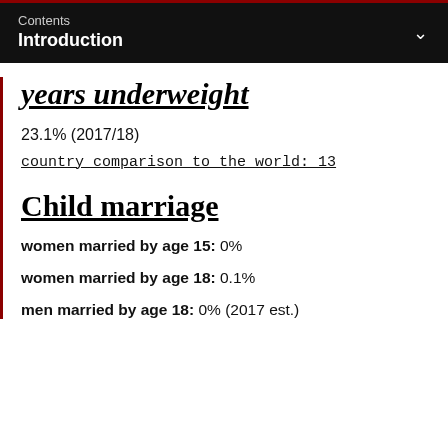Contents
Introduction
years underweight
23.1% (2017/18)
country comparison to the world: 13
Child marriage
women married by age 15: 0%
women married by age 18: 0.1%
men married by age 18: 0% (2017 est.)